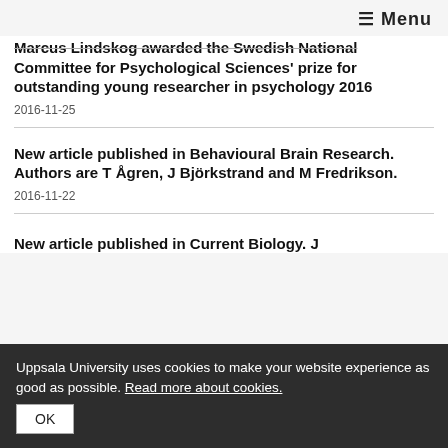☰ Menu
Marcus Lindskog awarded the Swedish National Committee for Psychological Sciences' prize for outstanding young researcher in psychology 2016
2016-11-25
New article published in Behavioural Brain Research. Authors are T Ågren, J Björkstrand and M Fredrikson.
2016-11-22
New article published in Current Biology. J
Uppsala University uses cookies to make your website experience as good as possible. Read more about cookies.